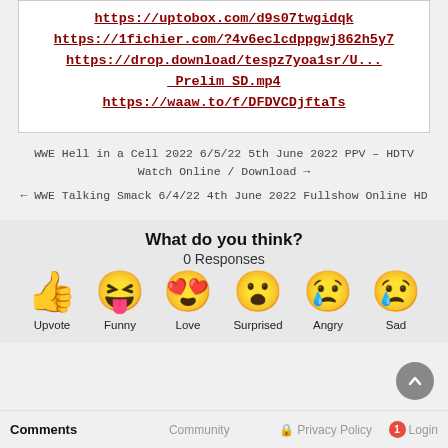https://uptobox.com/d9s07twgidqk
https://1fichier.com/?4v6eclcdppgwj862h5y7
https://drop.download/tespz7yoa1sr/U..._Prelim_SD.mp4
https://waaw.to/f/DFDVCDjftaTs
WWE Hell in a Cell 2022 6/5/22 5th June 2022 PPV – HDTV Watch Online / Download →
← WWE Talking Smack 6/4/22 4th June 2022 Fullshow Online HD
What do you think?
0 Responses
[Figure (infographic): Six emoji reaction buttons: Upvote (thumbs up), Funny (laughing face with tongue), Love (heart eyes), Surprised (astonished face), Angry (crying/angry face), Sad (sad face with tear)]
Comments   Community   Privacy Policy   Login